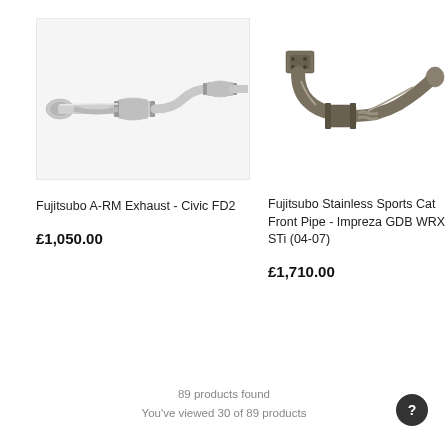[Figure (photo): Fujitsubo A-RM exhaust system for Honda Civic FD2, stainless steel, shown on white background]
[Figure (photo): Fujitsubo Stainless Sports Cat Front Pipe for Subaru Impreza GDB WRX STi (04-07), dark steel pipe shown on white background]
Fujitsubo A-RM Exhaust - Civic FD2
Fujitsubo Stainless Sports Cat Front Pipe - Impreza GDB WRX STi (04-07)
£1,050.00
£1,710.00
89 products found
You've viewed 30 of 89 products